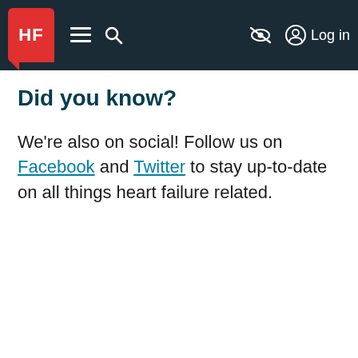HF [logo] [hamburger menu] [search] [eye-slash icon] [user icon] Log in
Did you know?
We're also on social! Follow us on Facebook and Twitter to stay up-to-date on all things heart failure related.